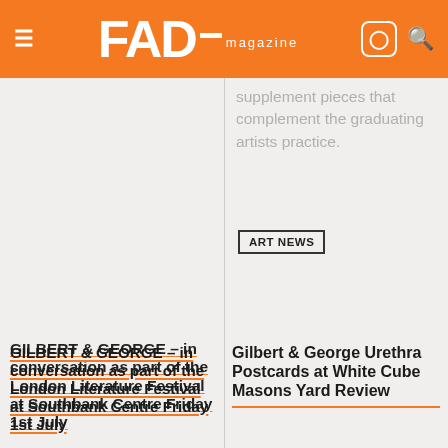FAD magazine
supplement pieces that complement the graduating artists practice.
ART NEWS
GILBERT & GEORGE – in conversation as part of the London Literature Festival at Southbank Centre Friday 1st July
Friday 1st July 2011, Queen Elizabeth Hall, 7.30pm, £14/£10 Hear Gilbert & George, the irrepressible masters of the contemporary art… Read More
ART NEWS
Gilbert & George Urethra Postcards at White Cube Masons Yard Review
Embarrassingly I went to the wrong White Cube in Hoxton where some other Gilbert and